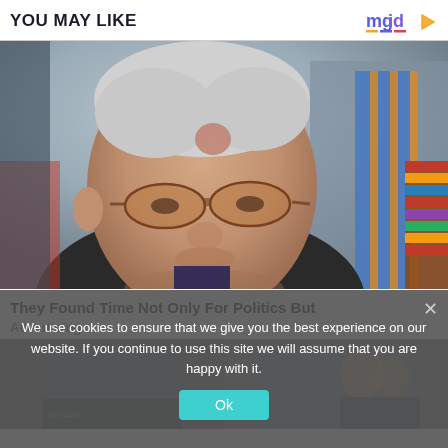YOU MAY LIKE
[Figure (photo): Elderly man with white hair wearing sunglasses and a dark jacket, with a person in a blue and orange striped tie and military medals visible in the background]
They Found Time Not Only For Politics But
Advertising
We use cookies to ensure that we give you the best experience on our website. If you continue to use this site we will assume that you are happy with it.
Ok